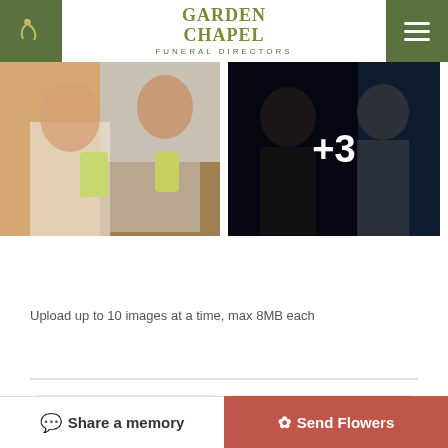[Figure (logo): Garden Chapel Funeral Directors logo with phone icon and hamburger menu on dark green header bar]
[Figure (photo): Two women smiling and holding drinks, raising glasses in a toast at an event]
[Figure (photo): Two women standing together in a dark setting, with overlay showing +3 additional photos]
Add Photos
Upload up to 10 images at a time, max 8MB each
Share a memory
Send Flowers